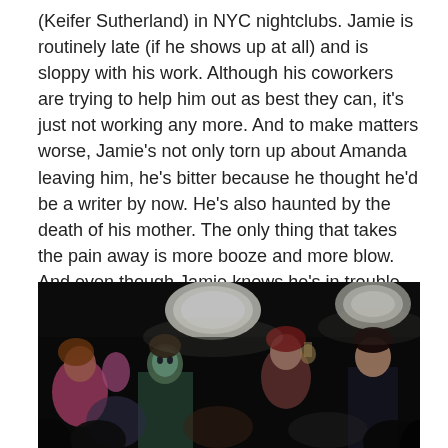(Keifer Sutherland) in NYC nightclubs. Jamie is routinely late (if he shows up at all) and is sloppy with his work. Although his coworkers are trying to help him out as best they can, it's just not working any more. And to make matters worse, Jamie's not only torn up about Amanda leaving him, he's bitter because he thought he'd be a writer by now. He's also haunted by the death of his mother. The only thing that takes the pain away is more booze and more blow. And even though Jamie knows he's in trouble, he's unable to do anything about it. Tad is very persuasive, and given Jamie's depression it's not hard to convince him to go looking for “sneeze and squeeze” instead of staying in for the evening.
[Figure (photo): Dark nightclub scene with crowd of people dancing and socializing, dim lighting with bright circular lights visible in the background]